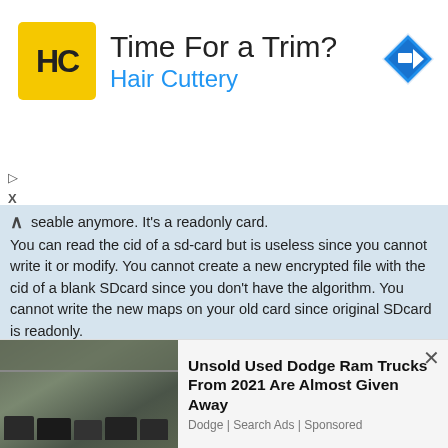[Figure (infographic): Advertisement banner: Hair Cuttery ad with yellow HC logo, title 'Time For a Trim?', subtitle 'Hair Cuttery' in blue, and a navigation arrow icon on the right.]
seable anymore. It's a readonly card. You can read the cid of a sd-card but is useless since you cannot write it or modify. You cannot create a new encrypted file with the cid of a blank SDcard since you don't have the algorithm. You cannot write the new maps on your old card since original SDcard is readonly.
So - cloning is not a way.
ImStricken06
Re: GPS Map Updates
Mon Apr 08, 2013 11:45 am
very interesting. from my understanding, there is always a way to
[Figure (photo): Advertisement: Unsold Used Dodge Ram Trucks From 2021 Are Almost Given Away. Shows a parking garage with trucks. Source: Dodge | Search Ads | Sponsored]